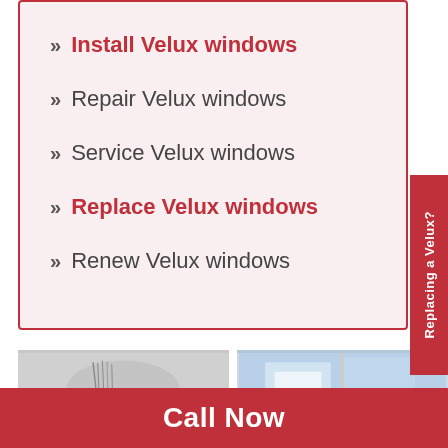Install Velux windows
Repair Velux windows
Service Velux windows
Replace Velux windows
Renew Velux windows
[Figure (photo): Person working on rooftop with trees in background]
[Figure (photo): Interior view of Velux skylight window showing sky and clouds]
Call Now